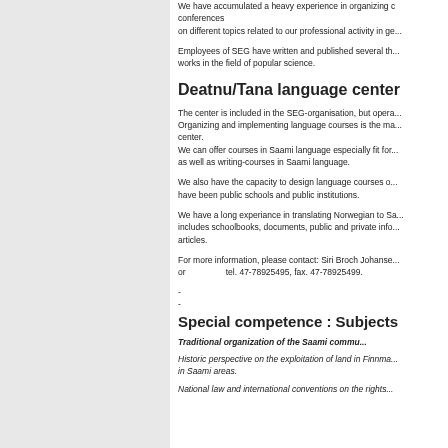We have accumulated a heavy experience in organizing conferences on different topics related to our professional activity in ge...
Employees of SEG have written and published several th... works in the field of popular science.
Deatnu/Tana language center
The center is included in the SEG-organisation, but opera... Organizing and implementing language courses is the ma... center.
We can offer courses in Saami language especially fit for... as well as writing-courses in Saami language.
We also have the capacity to design language courses o... have been public schools and public institutions.
We have a long experiance in translating Norwegian to Sa... includes schoolbooks, documents, public and private info... articles.
For more information, please contact: Siri Broch Johanse... or                 tel. 47-78925495, fax. 47-78925499.
-
-
Special competence : Subjects
Traditional organization of the Saami commu...
Historic perspective on the exploitation of land in Finnma... in Saami areas.
National law and international conventions on the rights...